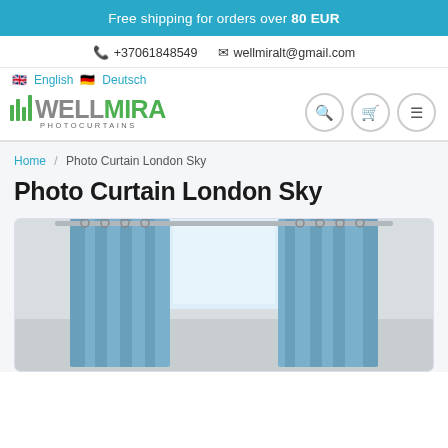Free shipping for orders over 80 EUR
+37061848549  wellmiralt@gmail.com
English  Deutsch
[Figure (logo): WellMira Photocurtains logo with green stripe icon and gray/green wordmark]
Photo Curtain London Sky
Home / Photo Curtain London Sky
[Figure (photo): Photo curtain London Sky product image showing blue curtains hanging in a room with a window]